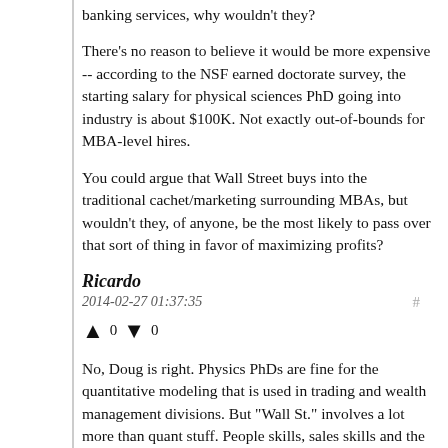banking services, why wouldn't they?
There's no reason to believe it would be more expensive -- according to the NSF earned doctorate survey, the starting salary for physical sciences PhD going into industry is about $100K. Not exactly out-of-bounds for MBA-level hires.
You could argue that Wall Street buys into the traditional cachet/marketing surrounding MBAs, but wouldn't they, of anyone, be the most likely to pass over that sort of thing in favor of maximizing profits?
Ricardo
2014-02-27 01:37:35
No, Doug is right. Physics PhDs are fine for the quantitative modeling that is used in trading and wealth management divisions. But "Wall St." involves a lot more than quant stuff. People skills, sales skills and the ability to talk BS are a big part of what is valued on Wall St. It is easier to make